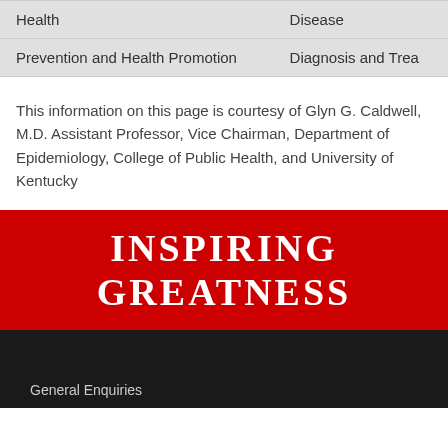|  |  |
| --- | --- |
| Health | Disease |
| Prevention and Health Promotion | Diagnosis and Trea… |
This information on this page is courtesy of Glyn G. Caldwell, M.D. Assistant Professor, Vice Chairman, Department of Epidemiology, College of Public Health, and University of Kentucky
INSPIRING GREATNESS
General Enquiries